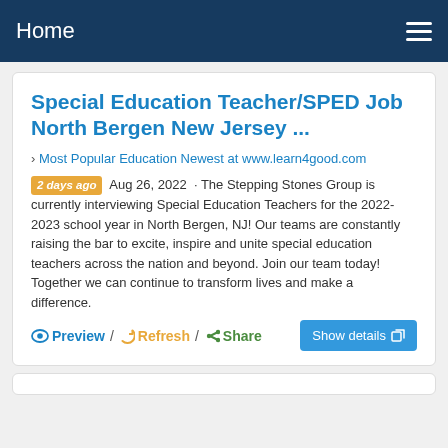Home
Special Education Teacher/SPED Job North Bergen New Jersey ...
› Most Popular Education Newest at www.learn4good.com
2 days ago  Aug 26, 2022  · The Stepping Stones Group is currently interviewing Special Education Teachers for the 2022-2023 school year in North Bergen, NJ! Our teams are constantly raising the bar to excite, inspire and unite special education teachers across the nation and beyond. Join our team today! Together we can continue to transform lives and make a difference.
Preview / Refresh / Share   Show details